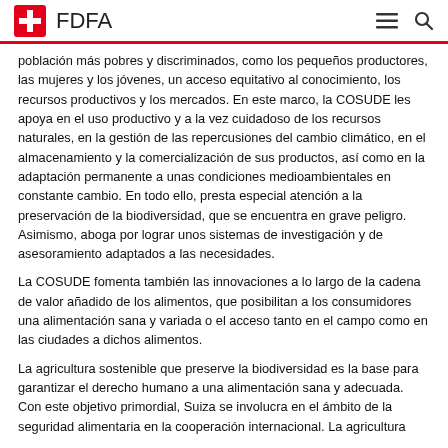FDFA
población más pobres y discriminados, como los pequeños productores, las mujeres y los jóvenes, un acceso equitativo al conocimiento, los recursos productivos y los mercados. En este marco, la COSUDE les apoya en el uso productivo y a la vez cuidadoso de los recursos naturales, en la gestión de las repercusiones del cambio climático, en el almacenamiento y la comercialización de sus productos, así como en la adaptación permanente a unas condiciones medioambientales en constante cambio. En todo ello, presta especial atención a la preservación de la biodiversidad, que se encuentra en grave peligro. Asimismo, aboga por lograr unos sistemas de investigación y de asesoramiento adaptados a las necesidades.
La COSUDE fomenta también las innovaciones a lo largo de la cadena de valor añadido de los alimentos, que posibilitan a los consumidores una alimentación sana y variada o el acceso tanto en el campo como en las ciudades a dichos alimentos.
La agricultura sostenible que preserve la biodiversidad es la base para garantizar el derecho humano a una alimentación sana y adecuada. Con este objetivo primordial, Suiza se involucra en el ámbito de la seguridad alimentaria en la cooperación internacional. La agricultura